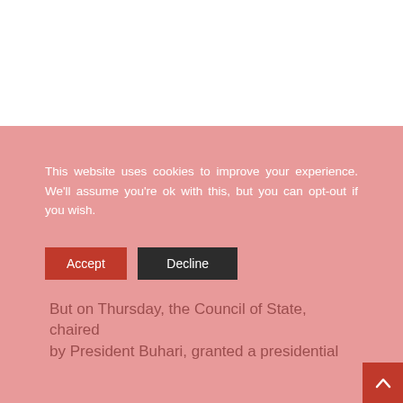This website uses cookies to improve your experience. We'll assume you're ok with this, but you can opt-out if you wish.
But on Thursday, the Council of State, chaired by President Buhari, granted a presidential